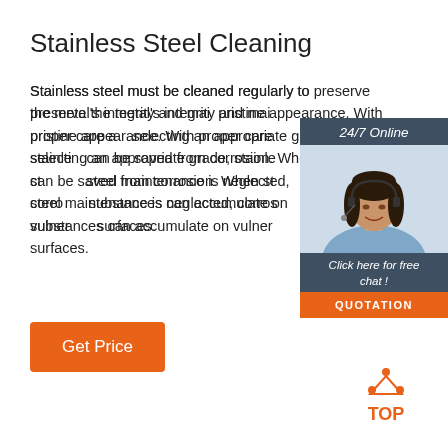Stainless Steel Cleaning
Stainless steel must be cleaned regularly to preserve the metal's integrity and maintain pristine appearance. With proper care and selecting an appropriate grade, stainless steel can be saved from corrosion. When stainless steel maintenance is neglected, corrosive substances can accumulate on vulnerable surfaces.
[Figure (infographic): Chat widget with '24/7 Online' header, photo of customer service representative with headset, 'Click here for free chat!' text, and an orange QUOTATION button]
[Figure (logo): TOP logo with orange triangle/dots design and text 'TOP' in orange]
Get Price